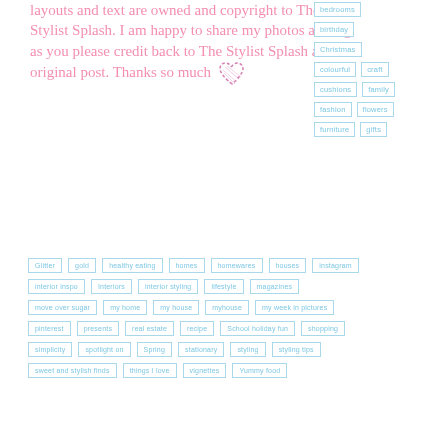layouts and text are owned and copyright to The Stylist Splash. I am happy to share my photos as long as you please credit back to The Stylist Splash and the original post. Thanks so much ♥
bedrooms
birthday
Christmas
colourful
craft
cushions
family
fashion
flowers
furniture
gifts
Glitter
gold
healthy eating
homes
homewares
houses
instagram
interior inspo
Interiors
interior styling
lifestyle
magazines
move over sugar
my home
my house
myhouse
my week in pictures
pinterest
presents
real estate
recipe
School holiday fun
shopping
simplicity
spotlight on
Spring
stationary
styling
styling tips
sweet and stylish finds
things I love
vignettes
Yummy food